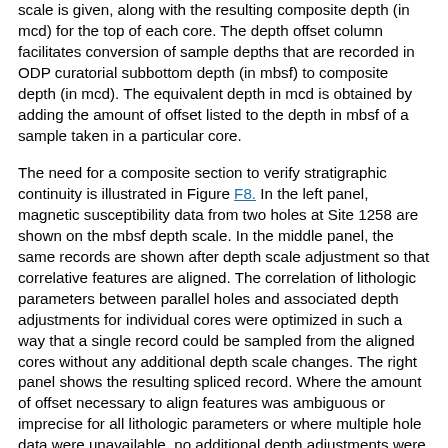scale is given, along with the resulting composite depth (in mcd) for the top of each core. The depth offset column facilitates conversion of sample depths that are recorded in ODP curatorial subbottom depth (in mbsf) to composite depth (in mcd). The equivalent depth in mcd is obtained by adding the amount of offset listed to the depth in mbsf of a sample taken in a particular core.
The need for a composite section to verify stratigraphic continuity is illustrated in Figure F8. In the left panel, magnetic susceptibility data from two holes at Site 1258 are shown on the mbsf depth scale. In the middle panel, the same records are shown after depth scale adjustment so that correlative features are aligned. The correlation of lithologic parameters between parallel holes and associated depth adjustments for individual cores were optimized in such a way that a single record could be sampled from the aligned cores without any additional depth scale changes. The right panel shows the resulting spliced record. Where the amount of offset necessary to align features was ambiguous or imprecise for all lithologic parameters or where multiple hole data were unavailable, no additional depth adjustments were made. In these cases, the total amount of offset between mbsf and mcd depths is equal to the cumulative offset from the overlying cores.